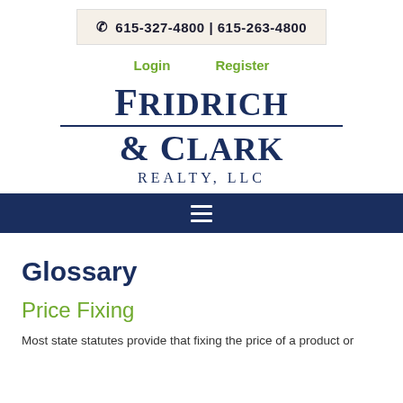615-327-4800 | 615-263-4800
Login    Register
[Figure (logo): Fridrich & Clark Realty, LLC logo in navy blue serif font with horizontal divider line]
Glossary
Price Fixing
Most state statutes provide that fixing the price of a product or